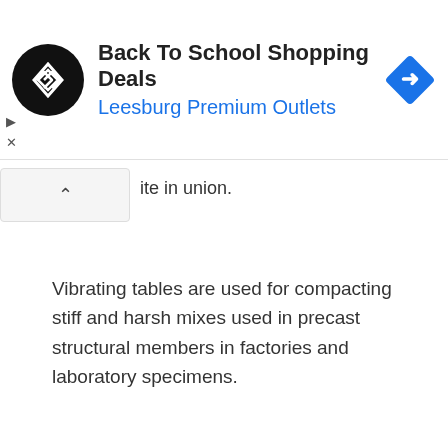[Figure (screenshot): Advertisement banner: black circular logo with two overlapping diamond/arrow shapes, title 'Back To School Shopping Deals', subtitle 'Leesburg Premium Outlets' in blue, and a blue diamond road-sign icon on the right with a right-turn arrow.]
ite in union.
Vibrating tables are used for compacting stiff and harsh mixes used in precast structural members in factories and laboratory specimens.